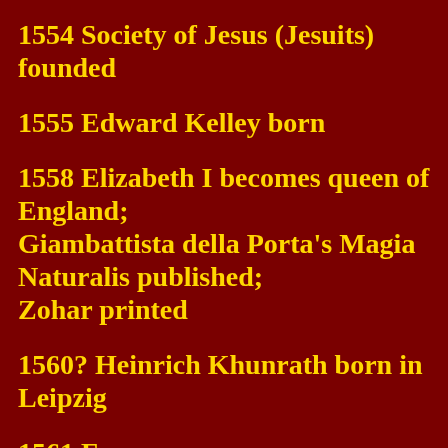1554 Society of Jesus (Jesuits) founded
1555 Edward Kelley born
1558 Elizabeth I becomes queen of England; Giambattista della Porta's Magia Naturalis published; Zohar printed
1560? Heinrich Khunrath born in Leipzig
1561 Francis Bacon born